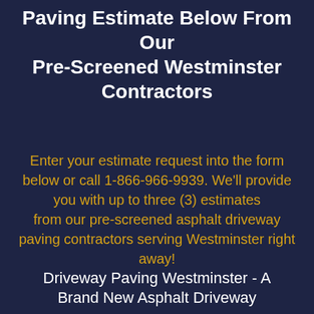Paving Estimate Below From Our Pre-Screened Westminster Contractors
Enter your estimate request into the form below or call 1-866-966-9939. We'll provide you with up to three (3) estimates from our pre-screened asphalt driveway paving contractors serving Westminster right away!
Driveway Paving Westminster - A Brand New Asphalt Driveway